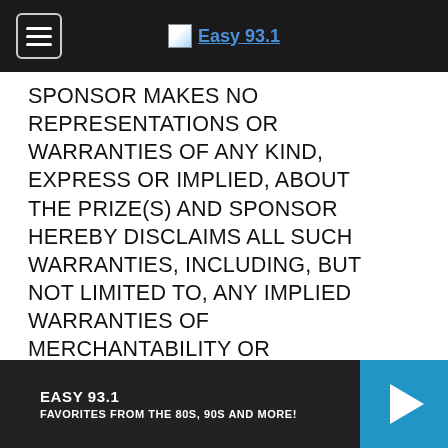Easy 93.1
SPONSOR MAKES NO REPRESENTATIONS OR WARRANTIES OF ANY KIND, EXPRESS OR IMPLIED, ABOUT THE PRIZE(S) AND SPONSOR HEREBY DISCLAIMS ALL SUCH WARRANTIES, INCLUDING, BUT NOT LIMITED TO, ANY IMPLIED WARRANTIES OF MERCHANTABILITY OR FITNESS FOR A PARTICULAR PURPOSE. (BECAUSE SOME STATES DO NOT ALLOW THE EXCLUSION OR LIMITATION OF CERTAIN IMPLIED WARRANTIES, THE ABOVE LIMITATION MAY NOT APPLY TO YOU. IN SUCH STATES, THE LIABILITY OF THE RELEASED PARTIES IS LIMITED TO THE FULLEST EXTENT PERMITTED BY SUCH STATE LAW.)
EASY 93.1 FAVORITES FROM THE 80S, 90S AND MORE!